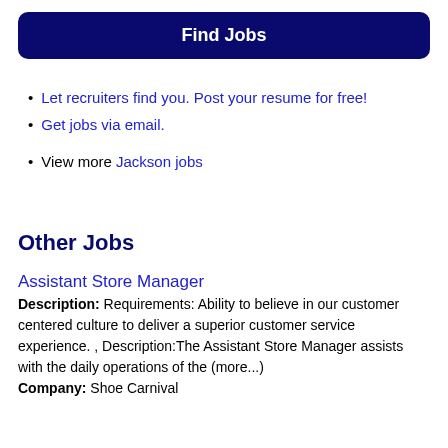Find Jobs
Let recruiters find you. Post your resume for free!
Get jobs via email.
View more Jackson jobs
Other Jobs
Assistant Store Manager
Description: Requirements: Ability to believe in our customer centered culture to deliver a superior customer service experience. , Description:The Assistant Store Manager assists with the daily operations of the (more...)
Company: Shoe Carnival